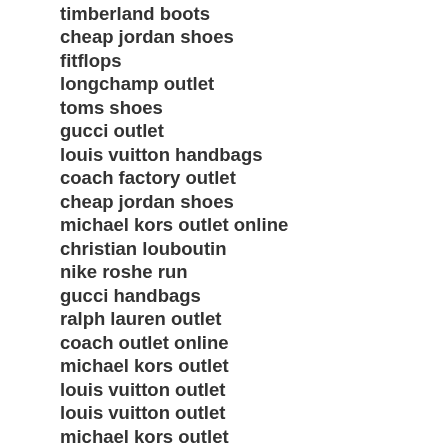timberland boots
cheap jordan shoes
fitflops
longchamp outlet
toms shoes
gucci outlet
louis vuitton handbags
coach factory outlet
cheap jordan shoes
michael kors outlet online
christian louboutin
nike roshe run
gucci handbags
ralph lauren outlet
coach outlet online
michael kors outlet
louis vuitton outlet
louis vuitton outlet
michael kors outlet
oakley sunglasses
polo ralph lauren outlet
cheap oakley sunglasses
coach outlet